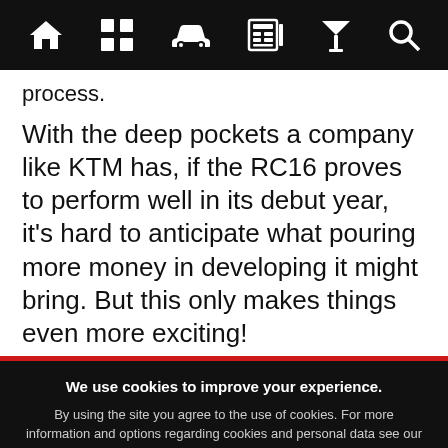[Navigation bar with icons: home, grid, car, newspaper, filter, search]
process.
With the deep pockets a company like KTM has, if the RC16 proves to perform well in its debut year, it's hard to anticipate what pouring more money in developing it might bring. But this only makes things even more exciting!
We use cookies to improve your experience. By using the site you agree to the use of cookies. For more information and options regarding cookies and personal data see our Cookies Policy and Privacy Policy
Accept cookies & close
California residents: Do Not Sell My Info